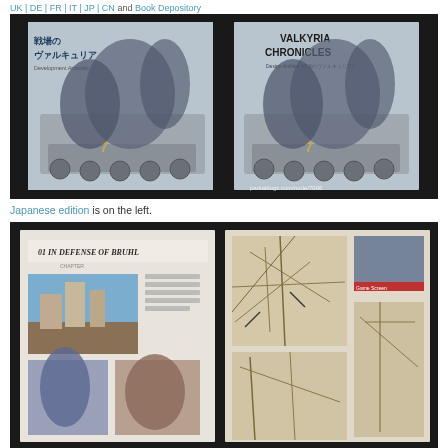UK | DE | FR | IT | JP | CN) and Book Depository
[Figure (photo): Photo showing two side-by-side book covers of Valkyria Chronicles artbook — Japanese edition on left (戦場のヴァルキュリア Development Artworks) and English edition on right (VALKYRIA CHRONICLES Design Archive). Both show anime-style military characters posed on a tank. Watermark: parkablogs.com/node/7006]
Japanese edition is on the left.
[Figure (photo): Photo showing open pages of the Valkyria Chronicles artbook. Left page shows 'IN DEFENSE OF BRUHL' chapter header with anime artwork of characters and scenic backgrounds. Right page shows tactical map layouts and a screenshot of the game.]